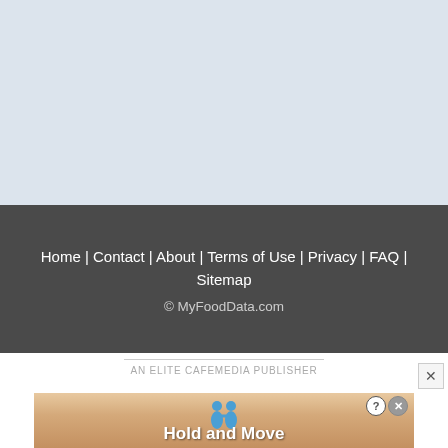[Figure (other): Light blue placeholder/ad area at the top of the page]
Home | Contact | About | Terms of Use | Privacy | FAQ | Sitemap
© MyFoodData.com
AN ELITE CAFEMEDIA PUBLISHER
[Figure (screenshot): Advertisement banner for 'Hold and Move' mobile game showing cartoon figures on a wooden surface with close and help icons]